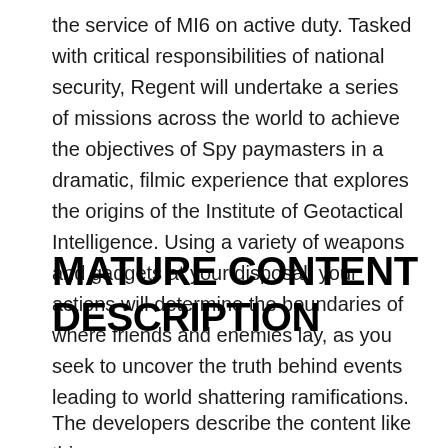the service of MI6 on active duty. Tasked with critical responsibilities of national security, Regent will undertake a series of missions across the world to achieve the objectives of Spy paymasters in a dramatic, filmic experience that explores the origins of the Institute of Geotactical Intelligence. Using a variety of weapons and gadgets at your disposal, your actions will determine the boundaries of where friends and enemies lay, as you seek to uncover the truth behind events leading to world shattering ramifications.
MATURE CONTENT DESCRIPTION
The developers describe the content like this: